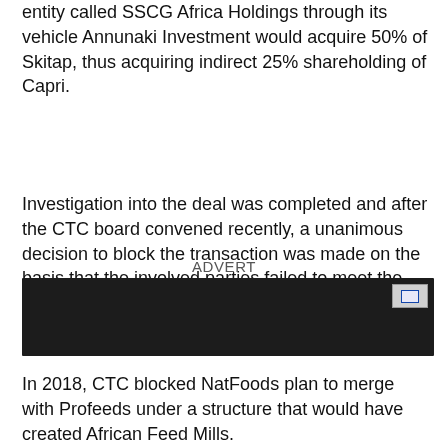entity called SSCG Africa Holdings through its vehicle Annunaki Investment would acquire 50% of Skitap, thus acquiring indirect 25% shareholding of Capri.
Investigation into the deal was completed and after the CTC board convened recently, a unanimous decision to block the transaction was made on the basis that the involved parties failed to meet the requisite guidelines.
ADVERT
[Figure (other): Dark advertisement banner with a small certification badge in the top right corner]
In 2018, CTC blocked NatFoods plan to merge with Profeeds under a structure that would have created African Feed Mills.